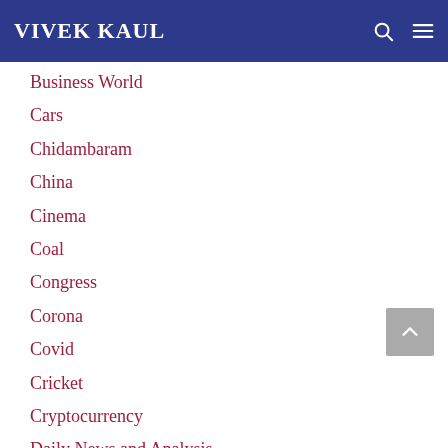VIVEK KAUL
Business World
Cars
Chidambaram
China
Cinema
Coal
Congress
Corona
Covid
Cricket
Cryptocurrency
Daily News and Analysis
DailyO